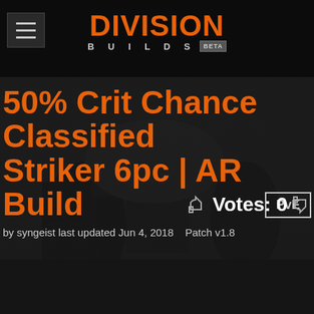DIVISION BUILDS BETA
50% Crit Chance Classified Striker 6pc | AR Build
PvE
by syngeist last updated Jun 4, 2018   Patch v1.8
Votes: 0
[Figure (photo): Dark background screenshot from The Division game showing a character in a dark urban environment]